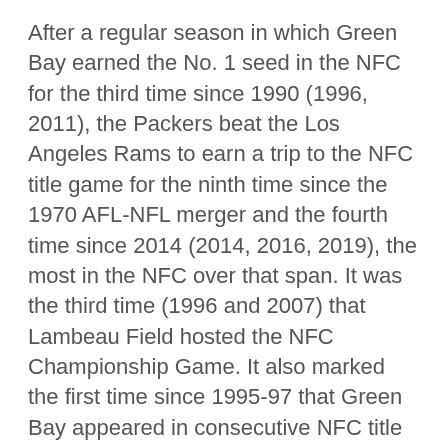After a regular season in which Green Bay earned the No. 1 seed in the NFC for the third time since 1990 (1996, 2011), the Packers beat the Los Angeles Rams to earn a trip to the NFC title game for the ninth time since the 1970 AFL-NFL merger and the fourth time since 2014 (2014, 2016, 2019), the most in the NFC over that span. It was the third time (1996 and 2007) that Lambeau Field hosted the NFC Championship Game. It also marked the first time since 1995-97 that Green Bay appeared in consecutive NFC title games. But the road would end there as the Buccaneers defeated the Packers, 31-26.
In 2021, the world and league continued to navigate the COVID-19 health pandemic, but preseason games and full stadiums of fans returned. It was the first season under the league's new schedule that featured a 17-game regular season while the